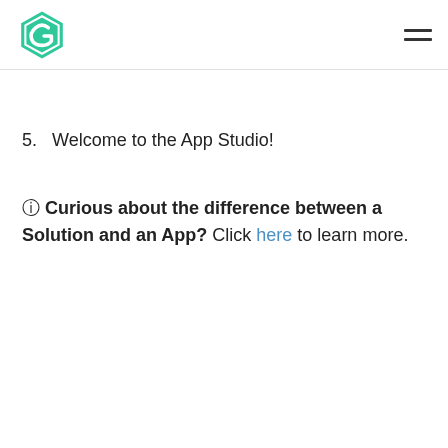Logo and navigation header
5.  Welcome to the App Studio!
🛈 Curious about the difference between a Solution and an App? Click here to learn more.